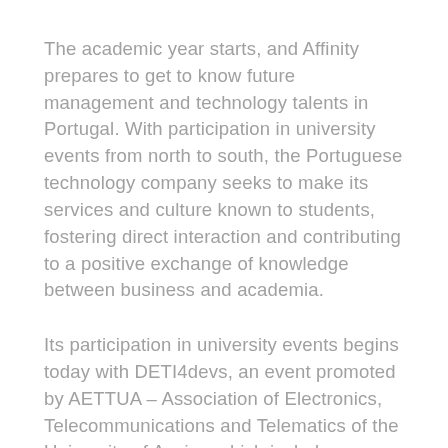The academic year starts, and Affinity prepares to get to know future management and technology talents in Portugal. With participation in university events from north to south, the Portuguese technology company seeks to make its services and culture known to students, fostering direct interaction and contributing to a positive exchange of knowledge between business and academia.
Its participation in university events begins today with DETI4devs, an event promoted by AETTUA – Association of Electronics, Telecommunications and Telematics of the University of Aveiro, which includes lectures,